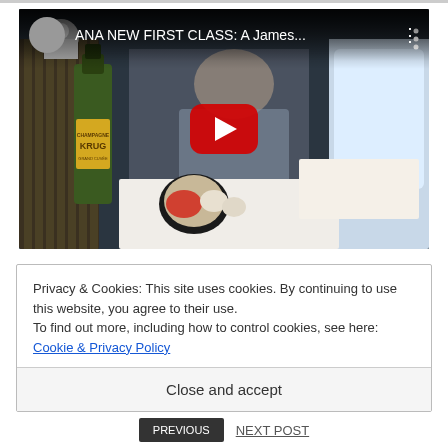[Figure (screenshot): YouTube video thumbnail showing ANA New First Class video with a person smiling next to a Krug champagne bottle and Japanese food set on an airplane tray, with a red YouTube play button overlay. Video title: 'ANA NEW FIRST CLASS: A James...']
Disclaimer: Both Images are Screenshots from one
Privacy & Cookies: This site uses cookies. By continuing to use this website, you agree to their use.
To find out more, including how to control cookies, see here: Cookie & Privacy Policy
Close and accept